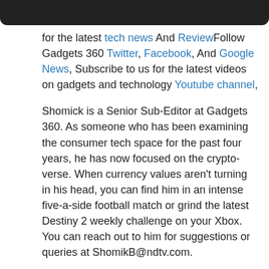[Figure (other): Dark header bar at top of page]
for the latest tech news And ReviewFollow Gadgets 360 Twitter, Facebook, And Google News, Subscribe to us for the latest videos on gadgets and technology Youtube channel,
Shomick is a Senior Sub-Editor at Gadgets 360. As someone who has been examining the consumer tech space for the past four years, he has now focused on the crypto-verse. When currency values aren't turning in his head, you can find him in an intense five-a-side football match or grind the latest Destiny 2 weekly challenge on your Xbox. You can reach out to him for suggestions or queries at ShomikB@ndtv.com.
more